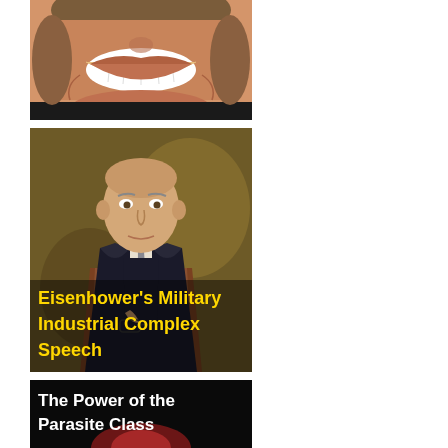[Figure (photo): Partial view of a smiling person's face and neck, cropped — only lower face and chest visible, wearing a black top, with curly grey-brown hair]
[Figure (photo): Portrait of Eisenhower seated in a leather chair in a dark suit, holding glasses, with yellow bold text overlay reading: Eisenhower's Military Industrial Complex Speech]
[Figure (photo): Dark image with white bold text reading: The Power of the Parasite Class, with a partial glowing circular object visible at the bottom]